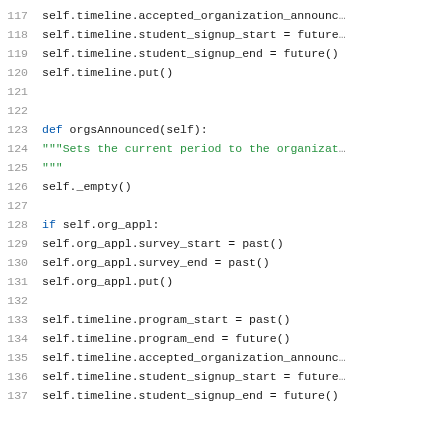Code snippet showing Python methods with line numbers 117-137, including timeline and orgsAnnounced method definitions